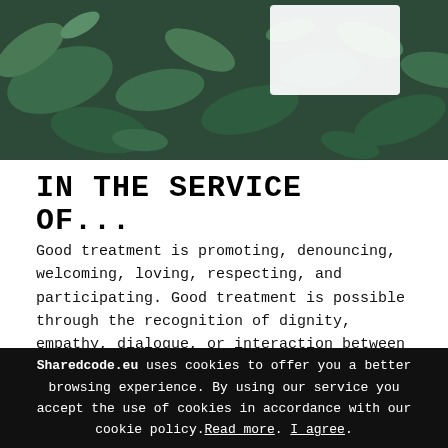[Figure (photo): Photo banner of green plants/foliage with a white card or sign visible]
IN THE SERVICE OF...
Good treatment is promoting, denouncing, welcoming, loving, respecting, and participating. Good treatment is possible through the recognition of dignity, empathy, dialogue, or interaction between equals. Zineb tells us that, for her, respect as well as mutual help and empathy are key values. Good treatment is based on respect for others, recognition as people, as human beings, in a way
Sharedcode.eu uses cookies to offer you a better browsing experience. By using our service you accept the use of cookies in accordance with our cookie policy. Read more. I agree.